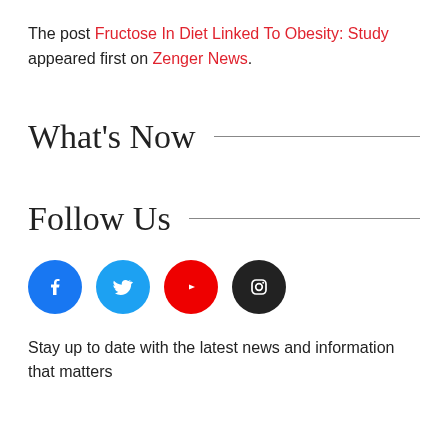The post Fructose In Diet Linked To Obesity: Study appeared first on Zenger News.
What's Now
Follow Us
[Figure (infographic): Social media icons: Facebook (blue circle), Twitter (light blue circle), YouTube (red circle), Instagram (black circle)]
Stay up to date with the latest news and information that matters